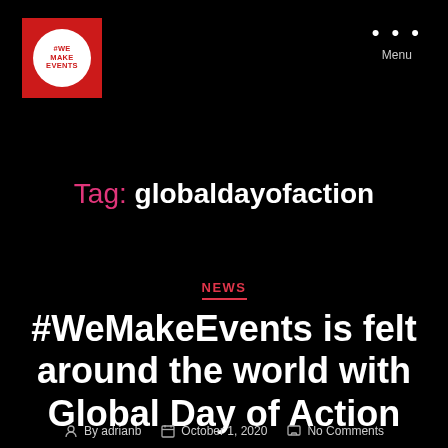[Figure (logo): Red square logo with white circle containing #WE MAKE EVENTS text in red]
Menu
Tag: globaldayofaction
NEWS
#WeMakeEvents is felt around the world with Global Day of Action
By adrianb   October 1, 2020   No Comments